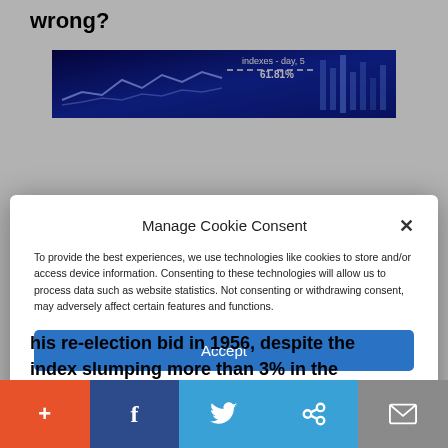wrong?
[Figure (screenshot): Financial chart screenshot showing 'indexes - day, 5' and '61.81%' on a dark blue background with line graphs]
Manage Cookie Consent
To provide the best experiences, we use technologies like cookies to store and/or access device information. Consenting to these technologies will allow us to process data such as website statistics. Not consenting or withdrawing consent, may adversely affect certain features and functions.
Accept
Cookie Policy  Privacy Policy
his re-election bid in 1956, despite the
index slumping more than 3% in the